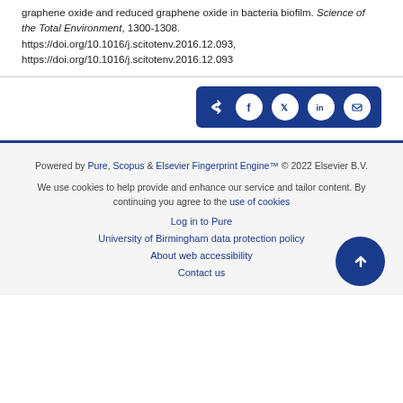graphene oxide and reduced graphene oxide in bacteria biofilm. Science of the Total Environment, 1300-1308. https://doi.org/10.1016/j.scitotenv.2016.12.093, https://doi.org/10.1016/j.scitotenv.2016.12.093
[Figure (other): Social share buttons bar with share icon, Facebook, Twitter, LinkedIn, and email icons on dark blue background]
Powered by Pure, Scopus & Elsevier Fingerprint Engine™ © 2022 Elsevier B.V.
We use cookies to help provide and enhance our service and tailor content. By continuing you agree to the use of cookies
Log in to Pure
University of Birmingham data protection policy
About web accessibility
Contact us